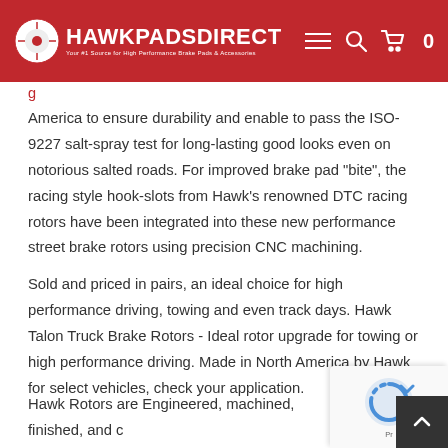HawkPadsDirect — Your #1 Source for High Performance Brake Pads & Accessories
America to ensure durability and enable to pass the ISO-9227 salt-spray test for long-lasting good looks even on notorious salted roads. For improved brake pad "bite", the racing style hook-slots from Hawk's renowned DTC racing rotors have been integrated into these new performance street brake rotors using precision CNC machining.
Sold and priced in pairs, an ideal choice for high performance driving, towing and even track days. Hawk Talon Truck Brake Rotors - Ideal rotor upgrade for towing or high performance driving. Made in North America by Hawk for select vehicles, check your application.
Hawk Rotors are Engineered, machined, finished, and c… ISO certified facilities in North America Hawk TALON